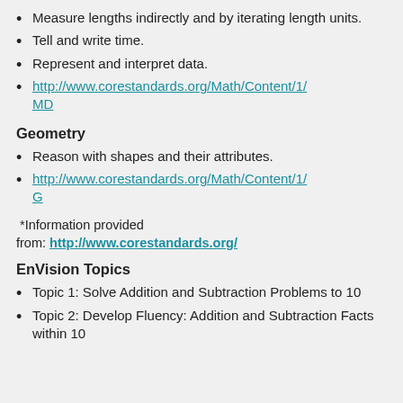Measure lengths indirectly and by iterating length units.
Tell and write time.
Represent and interpret data.
http://www.corestandards.org/Math/Content/1/MD
Geometry
Reason with shapes and their attributes.
http://www.corestandards.org/Math/Content/1/G
*Information provided from: http://www.corestandards.org/
EnVision Topics
Topic 1: Solve Addition and Subtraction Problems to 10
Topic 2: Develop Fluency: Addition and Subtraction Facts within 10